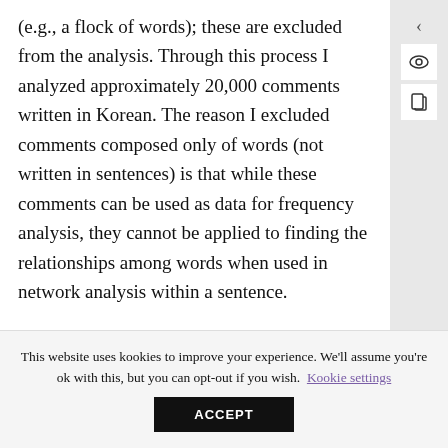(e.g., a flock of words); these are excluded from the analysis. Through this process I analyzed approximately 20,000 comments written in Korean. The reason I excluded comments composed only of words (not written in sentences) is that while these comments can be used as data for frequency analysis, they cannot be applied to finding the relationships among words when used in network analysis within a sentence.
This website uses kookies to improve your experience. We'll assume you're ok with this, but you can opt-out if you wish. Kookie settings